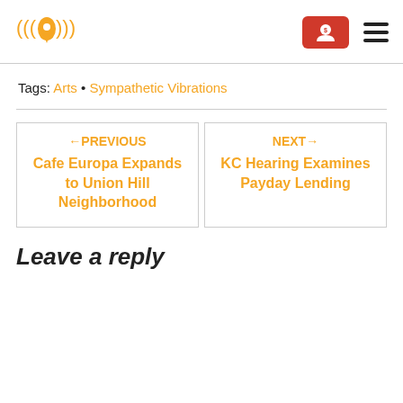Logo with navigation and menu button
Tags: Arts • Sympathetic Vibrations
←PREVIOUS Cafe Europa Expands to Union Hill Neighborhood
NEXT→ KC Hearing Examines Payday Lending
Leave a reply